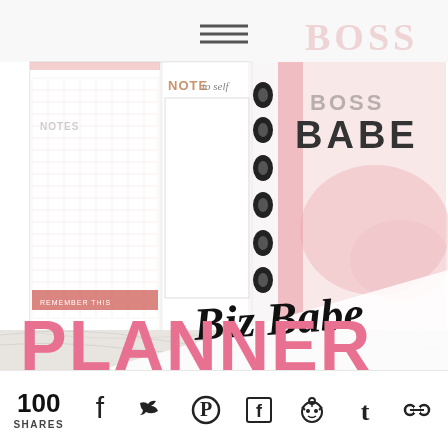[Figure (photo): A Boss Babe planner open showing notes pages and a pink 'BOSS BABE' page with a disc binding, placed on a marble surface. Overlaid script text reads 'Biz Babe' and large pink block letters 'PLANNER'. A hamburger menu icon is visible at top center.]
100 SHARES
[Figure (other): Social share icons row: Facebook, Twitter, Pinterest, Flipboard, Reddit, Tumblr, Share/link icon]